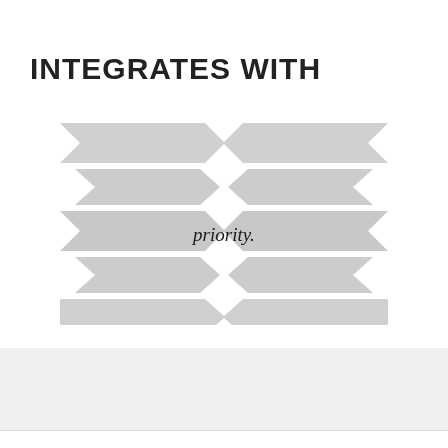INTEGRATES WITH
[Figure (logo): Priority software logo with two mirrored wing shapes made of stacked arrow/chevron shapes in light gray, with the text 'priority.' in the center]
ALTERNATIVES